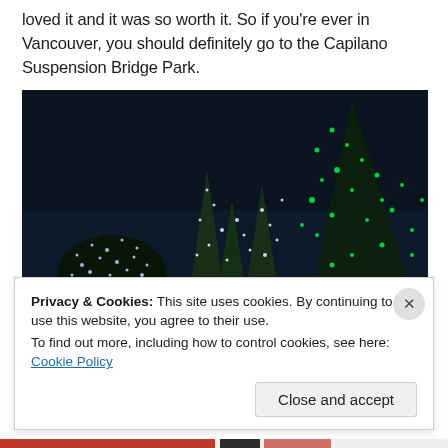loved it and it was so worth it. So if you're ever in Vancouver, you should definitely go to the Capilano Suspension Bridge Park.
[Figure (photo): Night-time photo of Capilano Suspension Bridge Park with trees decorated in green and white Christmas lights against a dark sky, with snow on the ground.]
Privacy & Cookies: This site uses cookies. By continuing to use this website, you agree to their use.
To find out more, including how to control cookies, see here: Cookie Policy